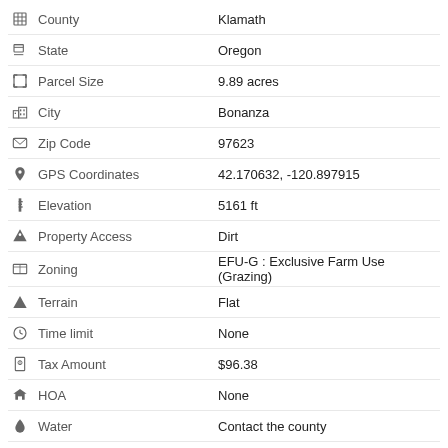County: Klamath
State: Oregon
Parcel Size: 9.89 acres
City: Bonanza
Zip Code: 97623
GPS Coordinates: 42.170632, -120.897915
Elevation: 5161 ft
Property Access: Dirt
Zoning: EFU-G : Exclusive Farm Use (Grazing)
Terrain: Flat
Time limit: None
Tax Amount: $96.38
HOA: None
Water: Contact the county
Sewer: Would need to install septic
Power: Alternative system
Doc Fee: $300